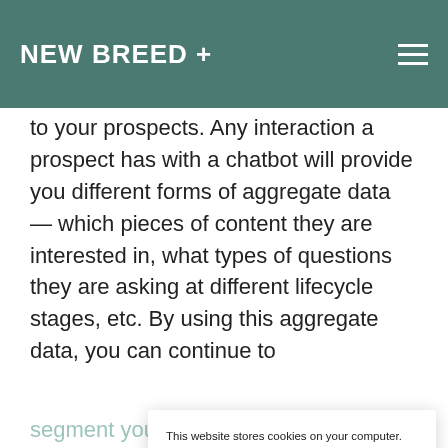NEW BREED +
to your prospects. Any interaction a prospect has with a chatbot will provide you different forms of aggregate data — which pieces of content they are interested in, what types of questions they are asking at different lifecycle stages, etc. By using this aggregate data, you can continue to
segment your contacts and ultimately improve your we…
By integrating these insights into your lead management strategy, you'll see a dramatic increase in conversion rates. If
This website stores cookies on your computer. These cookies are used to improve your website experience and provide more personalized services to you, both on this website and through other media. To find out more about the cookies we use, see our privacy policy.
ACCEPT